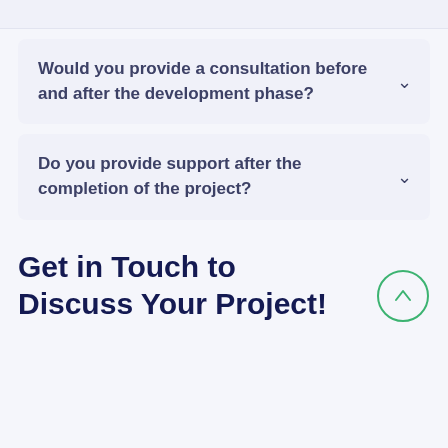Would you provide a consultation before and after the development phase?
Do you provide support after the completion of the project?
Get in Touch to Discuss Your Project!